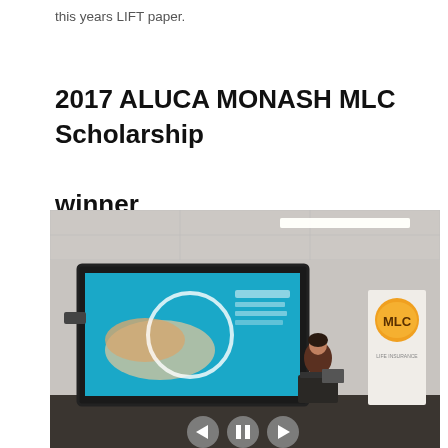this years LIFT paper.
2017 ALUCA MONASH MLC Scholarship winner
[Figure (photo): A presenter standing at a podium in a conference room, with a large screen displaying a presentation with blue background and hands imagery. An MLC Life Insurance banner/standee is visible to the right. Navigation controls (back, pause, forward) appear at the bottom of the image.]